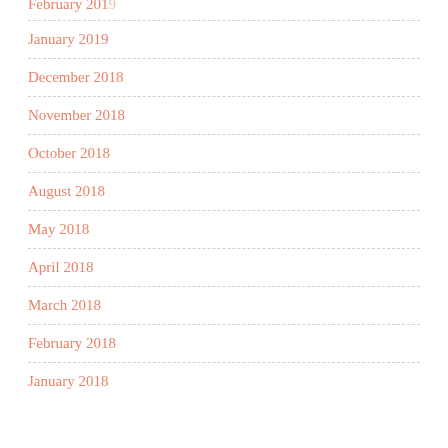February 2019 (partial, top cut off)
January 2019
December 2018
November 2018
October 2018
August 2018
May 2018
April 2018
March 2018
February 2018
January 2018